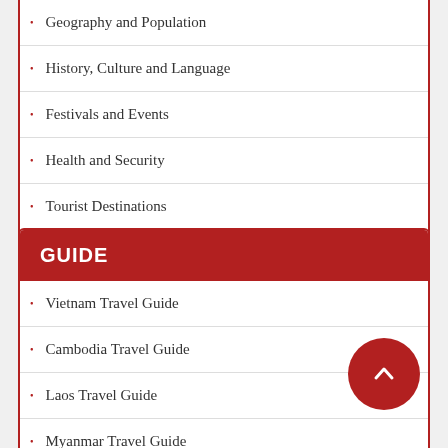Geography and Population
History, Culture and Language
Festivals and Events
Health and Security
Tourist Destinations
GUIDE
Vietnam Travel Guide
Cambodia Travel Guide
Laos Travel Guide
Myanmar Travel Guide
Thailand Travel Guide